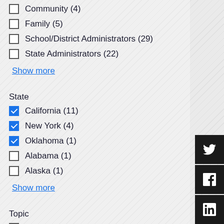Community (4)
Family (5)
School/District Administrators (29)
State Administrators (22)
Show more
State
California (11)
New York (4)
Oklahoma (1)
Alabama (1)
Alaska (1)
Show more
Topic
Diversity (1)